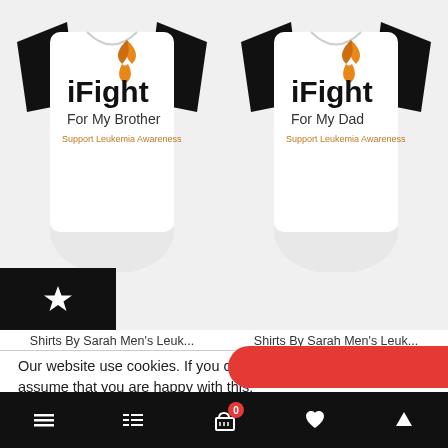[Figure (photo): Two baseball-style shirts with 'iFight For My Brother / Support Leukemia Awareness' and 'iFight For My Dad / Support Leukemia Awareness' printed on them, featuring an orange awareness ribbon.]
Shirts By Sarah Men's Leuk...
Shirts By Sarah Men's Leuk...
Our website use cookies. If you continue to use this site we will assume that you are happy with this.
More about cookies: www.aboutcookies.org